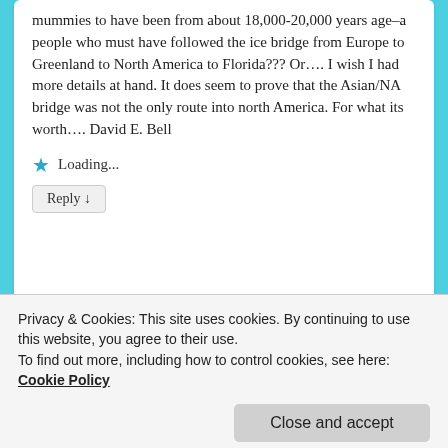mummies to have been from about 18,000-20,000 years age–a people who must have followed the ice bridge from Europe to Greenland to North America to Florida??? Or…. I wish I had more details at hand. It does seem to prove that the Asian/NA bridge was not the only route into north America. For what its worth…. David E. Bell
★ Loading...
Reply ↓
[Figure (other): Coast Guard related image/avatar thumbnail partially visible]
Privacy & Cookies: This site uses cookies. By continuing to use this website, you agree to their use.
To find out more, including how to control cookies, see here: Cookie Policy
Close and accept